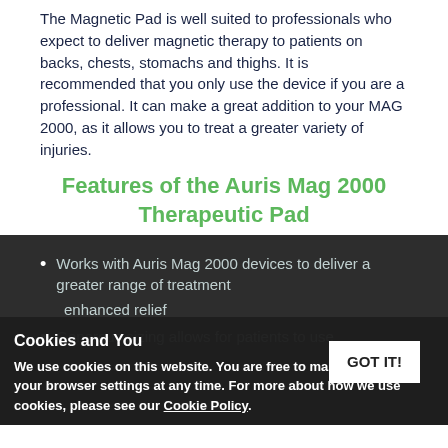The Magnetic Pad is well suited to professionals who expect to deliver magnetic therapy to patients on backs, chests, stomachs and thighs. It is recommended that you only use the device if you are a professional. It can make a great addition to your MAG 2000, as it allows you to treat a greater variety of injuries.
Features of the Auris Mag 2000 Therapeutic Pad
Works with Auris Mag 2000 devices to deliver a greater range of treatment
enhanced relief
Generous sizing allows for patients to use
Cookies and You — We use cookies on this website. You are free to manage these via your browser settings at any time. For more about how we use cookies, please see our Cookie Policy.